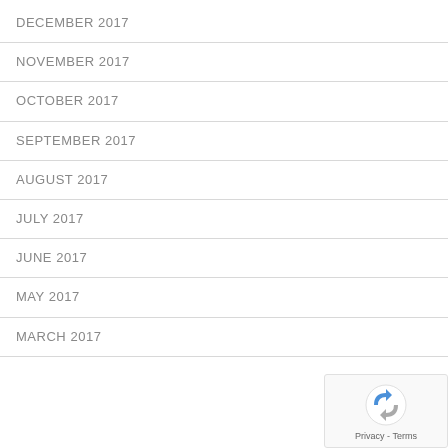DECEMBER 2017
NOVEMBER 2017
OCTOBER 2017
SEPTEMBER 2017
AUGUST 2017
JULY 2017
JUNE 2017
MAY 2017
MARCH 2017
[Figure (logo): reCAPTCHA badge with Privacy and Terms links]